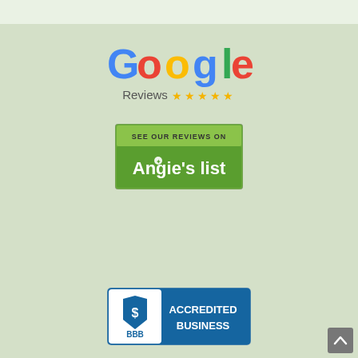[Figure (logo): Google Reviews logo with five gold stars below the word Google]
[Figure (logo): Angie's List badge: 'SEE OUR REVIEWS ON Angie's list' in green and white]
[Figure (logo): BBB Accredited Business badge in blue and white with dollar sign shield]
[Figure (other): Small scroll-to-top button in bottom right corner]